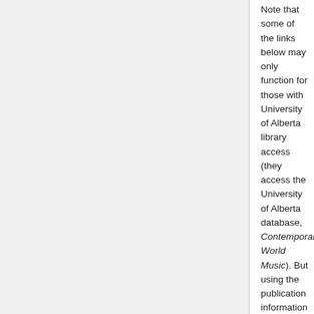Note that some of the links below may only function for those with University of Alberta library access (they access the University of Alberta database, Contemporary World Music). But using the publication information provided, you can locate these recordings online and purchase them, via iTunes, emusic.com, and other music download sites.
Required listening/reading (audio & liner notes):
Seprewa Kasa performed by Korankye, Osei; Kyerematen, Baffour & Banaman, Alfred Kari (Riverboat, 330051)
Mustapha Tettey Addy: Master Drummer from Ghana performed by Addy, Mustapha Tettey (Lyrichord, LYRCD 7250)
Kwabena Nyame: Ghana